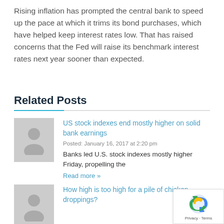Rising inflation has prompted the central bank to speed up the pace at which it trims its bond purchases, which have helped keep interest rates low. That has raised concerns that the Fed will raise its benchmark interest rates next year sooner than expected.
Related Posts
[Figure (photo): Placeholder avatar thumbnail image for related post]
US stock indexes end mostly higher on solid bank earnings
Posted: January 16, 2017 at 2:20 pm
Banks led U.S. stock indexes mostly higher Friday, propelling the
Read more »
[Figure (photo): Placeholder avatar thumbnail image for second related post]
How high is too high for a pile of chicken droppings?